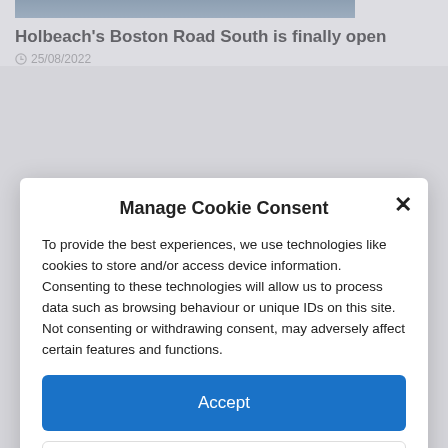Holbeach's Boston Road South is finally open
25/08/2022
Manage Cookie Consent
To provide the best experiences, we use technologies like cookies to store and/or access device information. Consenting to these technologies will allow us to process data such as browsing behaviour or unique IDs on this site. Not consenting or withdrawing consent, may adversely affect certain features and functions.
Accept
Deny
View preferences
Cookie Policy  Contact and complaints